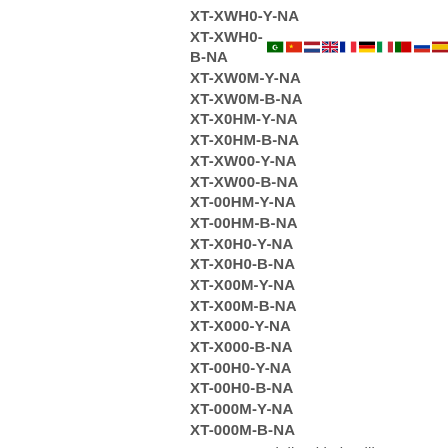XT-XWH0-Y-NA
XT-XWH0-B-NA
XT-XW0M-Y-NA
XT-XW0M-B-NA
XT-X0HM-Y-NA
XT-X0HM-B-NA
XT-XW00-Y-NA
XT-XW00-B-NA
XT-00HM-Y-NA
XT-00HM-B-NA
XT-X0H0-Y-NA
XT-X0H0-B-NA
XT-X00M-Y-NA
XT-X00M-B-NA
XT-X000-Y-NA
XT-X000-B-NA
XT-00H0-Y-NA
XT-00H0-B-NA
XT-000M-Y-NA
XT-000M-B-NA
We are specialized in intelligent instruments, including : control system, transmitters, flow meters,sensors, recorders, analyzers, control valves, controllers, PLC’s, etc.